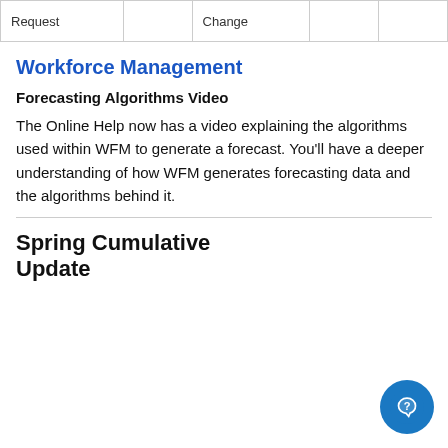| Request |  | Change |  |
| --- | --- | --- | --- |
|  |
Workforce Management
Forecasting Algorithms Video
The Online Help now has a video explaining the algorithms used within WFM to generate a forecast. You'll have a deeper understanding of how WFM generates forecasting data and the algorithms behind it.
Spring Cumulative Update